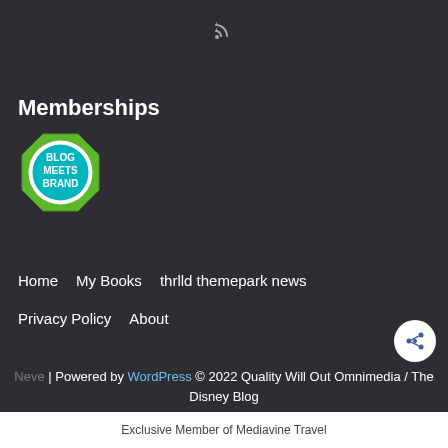[Figure (illustration): RSS feed icon at top center]
Memberships
[Figure (logo): Blog Meets Brand octagon badge logo with teal circle center]
Home   My Books   thrlld themepark news
Privacy Policy   About
[Figure (illustration): White share/social button circle with share icon]
Neve | Powered by WordPress © 2022 Quality Will Out Omnimedia / The Disney Blog
Exclusive Member of Mediavine Travel